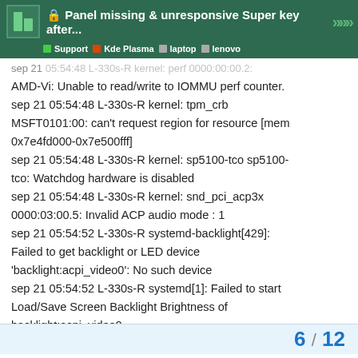🔒 Panel missing & unresponsive Super key after... | Support | Kde Plasma | laptop | lenovo
sep 21 05:54:48 L-330s-R kernel: perf 0000:00:00.2:
AMD-Vi: Unable to read/write to IOMMU perf counter.
sep 21 05:54:48 L-330s-R kernel: tpm_crb MSFT0101:00: can't request region for resource [mem 0x7e4fd000-0x7e500fff]
sep 21 05:54:48 L-330s-R kernel: sp5100-tco sp5100-tco: Watchdog hardware is disabled
sep 21 05:54:48 L-330s-R kernel: snd_pci_acp3x 0000:03:00.5: Invalid ACP audio mode : 1
sep 21 05:54:52 L-330s-R systemd-backlight[429]: Failed to get backlight or LED device 'backlight:acpi_video0': No such device
sep 21 05:54:52 L-330s-R systemd[1]: Failed to start Load/Save Screen Backlight Brightness of backlight:acpi_video0.
Subject: A start job for unit systemd-backlight@backlight:acpi_video0.service has failed
Defined-By: systemd
Support: https://forum.manjaro.org/
6 / 12